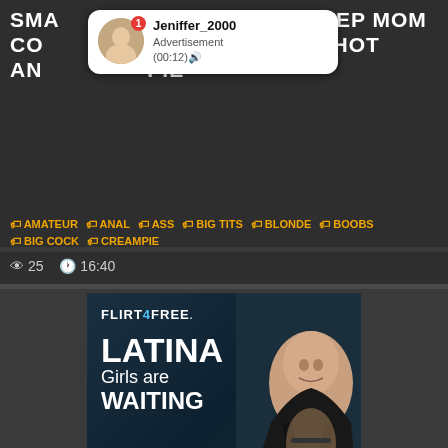SMARTYKAT314 JEALOUS STEP MOM COMES TO COUNT FOR SON HOT AND CREAMPIE
[Figure (screenshot): Notification popup showing Jeniffer_2000 advertisement with timestamp (00:12)]
AMATEUR  ANAL  ASS  BIG TITS  BLONDE  BOOBS  BIG COCK  CREAMPIE
25  16:40
[Figure (advertisement): Flirt4Free advertisement featuring LATINA Girls are WAITING with GET 120 FREE CREDITS button]